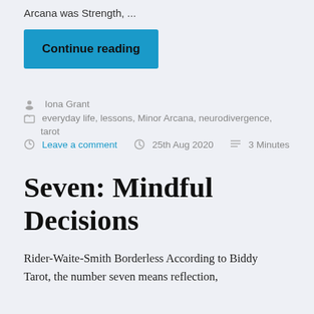Arcana was Strength, ...
Continue reading
Iona Grant
everyday life, lessons, Minor Arcana, neurodivergence, tarot
Leave a comment   25th Aug 2020   3 Minutes
Seven: Mindful Decisions
Rider-Waite-Smith Borderless According to Biddy Tarot, the number seven means reflection,